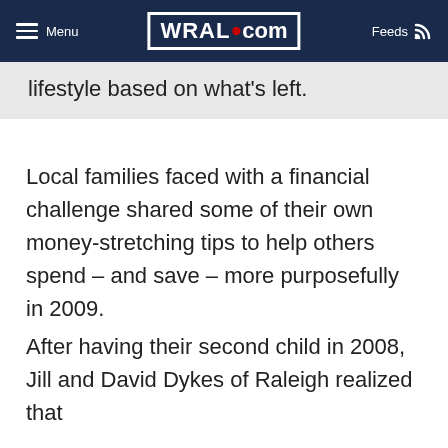Menu | WRAL.com | Feeds
lifestyle based on what's left.
Local families faced with a financial challenge shared some of their own money-stretching tips to help others spend – and save – more purposefully in 2009.
After having their second child in 2008, Jill and David Dykes of Raleigh realized that